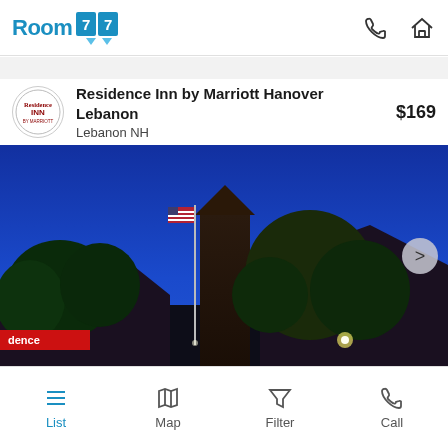[Figure (screenshot): Room 77 app header logo with blue text and arrow chevron icon]
Residence Inn by Marriott Hanover Lebanon
Lebanon NH
$169
[Figure (photo): Exterior twilight photo of Residence Inn by Marriott Hanover Lebanon hotel building with blue evening sky, flagpole with American flag, trees, and illuminated entry]
List
Map
Filter
Call